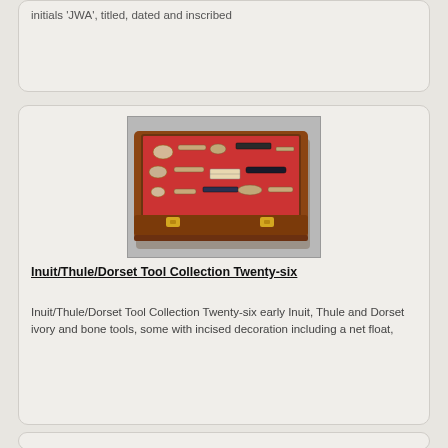initials 'JWA', titled, dated and inscribed
[Figure (photo): A wooden display case with red felt interior containing twenty-six early Inuit, Thule and Dorset ivory and bone tools, viewed at an angle showing the glass lid with brass latches.]
Inuit/Thule/Dorset Tool Collection Twenty-six
Inuit/Thule/Dorset Tool Collection Twenty-six early Inuit, Thule and Dorset ivory and bone tools, some with incised decoration including a net float,